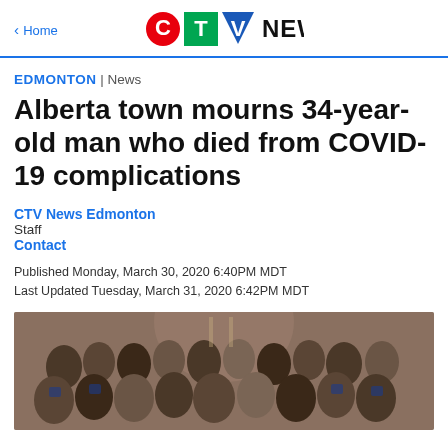CTV News
EDMONTON | News
Alberta town mourns 34-year-old man who died from COVID-19 complications
CTV News Edmonton
Staff
Contact
Published Monday, March 30, 2020 6:40PM MDT
Last Updated Tuesday, March 31, 2020 6:42PM MDT
[Figure (photo): Group photo of approximately 20 people in a church or event hall, many wearing Oilers hockey jerseys, posing together for a photo.]